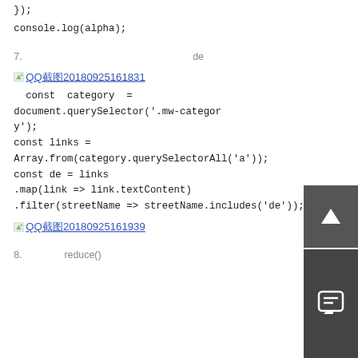});
console.log(alpha);
7. [CJK characters]de[CJK characters]
[Figure (screenshot): Link thumbnail: QQ截图20180925161831]
const  category  =  document.querySelector('.mw-category');
const links = Array.from(category.querySelectorAll('a'));
const de = links
.map(link => link.textContent)
.filter(streetName => streetName.includes('de'));
[Figure (screenshot): Link thumbnail: QQ截图20180925161939]
8. [CJK characters]reduce()[CJK characters]